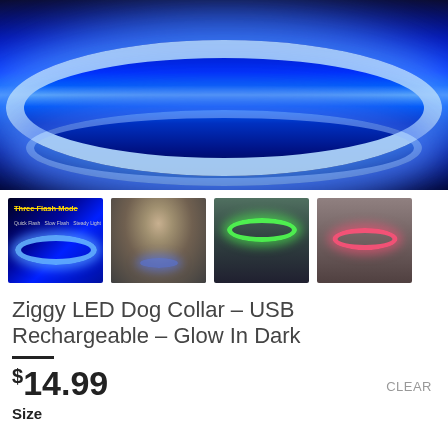[Figure (photo): Close-up photo of a glowing blue LED dog collar in the dark, with bright blue/white light illuminating against a dark background. Shows the collar's bright glowing strip.]
[Figure (photo): Four thumbnail product images: (1) Blue LED collar with 'Three Flash Mode' text and mode labels on dark background, (2) German Shepherd dog wearing blue LED collar in dark, (3) Dog wearing green LED collar in dark, (4) White dog wearing pink LED collar in dark.]
Ziggy LED Dog Collar – USB Rechargeable – Glow In Dark
$14.99
CLEAR
Size